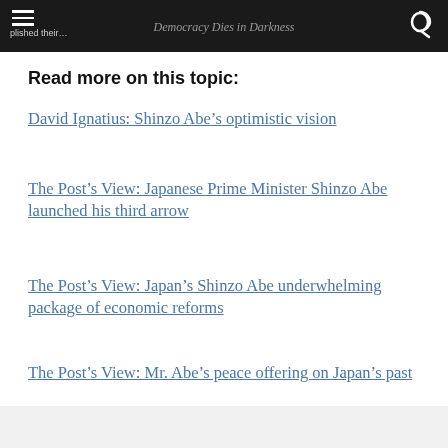Democracy Dies in Darkness
Read more on this topic:
David Ignatius: Shinzo Abe’s optimistic vision
The Post’s View: Japanese Prime Minister Shinzo Abe launched his third arrow
The Post’s View: Japan’s Shinzo Abe underwhelming package of economic reforms
The Post’s View: Mr. Abe’s peace offering on Japan’s past